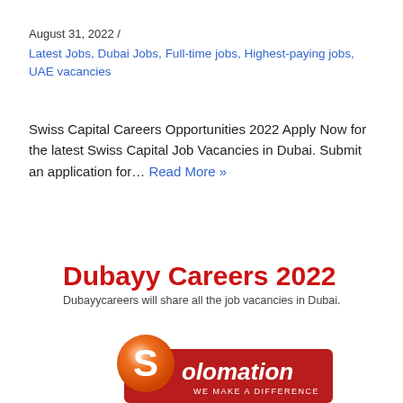August 31, 2022  /
Latest Jobs, Dubai Jobs, Full-time jobs, Highest-paying jobs, UAE vacancies
Swiss Capital Careers Opportunities 2022 Apply Now for the latest Swiss Capital Job Vacancies in Dubai. Submit an application for… Read More »
Dubayy Careers 2022
Dubayycareers will share all the job vacancies in Dubai.
[Figure (logo): Solomation logo — orange circular S icon with red banner and white text reading 'Solomation WE MAKE A DIFFERENCE']